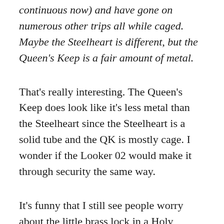continuous now) and have gone on numerous other trips all while caged. Maybe the Steelheart is different, but the Queen's Keep is a fair amount of metal.
That's really interesting. The Queen's Keep does look like it's less metal than the Steelheart since the Steelheart is a solid tube and the QK is mostly cage. I wonder if the Looker 02 would make it through security the same way.
It's funny that I still see people worry about the little brass lock in a Holy Trainer triggering a metal detector. No way does that even get